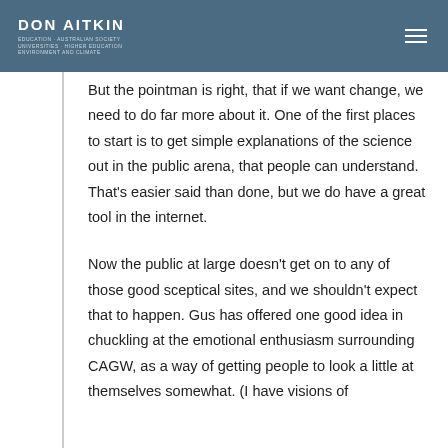DON AITKIN
But the pointman is right, that if we want change, we need to do far more about it. One of the first places to start is to get simple explanations of the science out in the public arena, that people can understand. That’s easier said than done, but we do have a great tool in the internet.
Now the public at large doesn’t get on to any of those good sceptical sites, and we shouldn’t expect that to happen. Gus has offered one good idea in chuckling at the emotional enthusiasm surrounding CAGW, as a way of getting people to look a little at themselves somewhat. (I have visions of